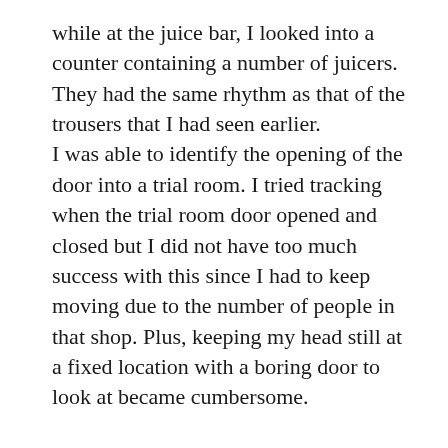while at the juice bar, I looked into a counter containing a number of juicers. They had the same rhythm as that of the trousers that I had seen earlier. I was able to identify the opening of the door into a trial room. I tried tracking when the trial room door opened and closed but I did not have too much success with this since I had to keep moving due to the number of people in that shop. Plus, keeping my head still at a fixed location with a boring door to look at became cumbersome.
I had to set the vOICe to double speed